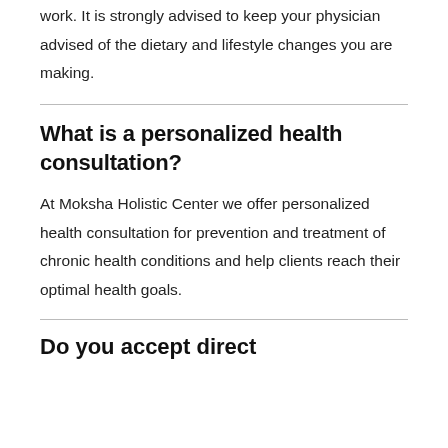work. It is strongly advised to keep your physician advised of the dietary and lifestyle changes you are making.
What is a personalized health consultation?
At Moksha Holistic Center we offer personalized health consultation for prevention and treatment of chronic health conditions and help clients reach their optimal health goals.
Do you accept direct insurance?